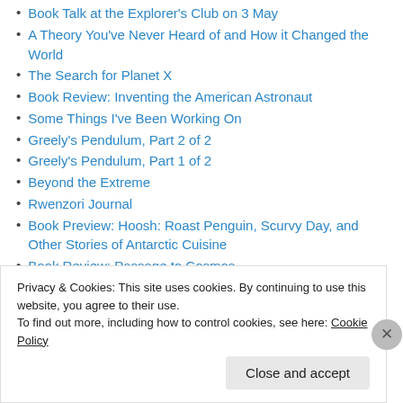Book Talk at the Explorer's Club on 3 May
A Theory You've Never Heard of and How it Changed the World
The Search for Planet X
Book Review: Inventing the American Astronaut
Some Things I've Been Working On
Greely's Pendulum, Part 2 of 2
Greely's Pendulum, Part 1 of 2
Beyond the Extreme
Rwenzori Journal
Book Preview: Hoosh: Roast Penguin, Scurvy Day, and Other Stories of Antarctic Cuisine
Book Review: Passage to Cosmos
Book Excerpt: A Labyrinth of Kingdoms: 10,000 Miles Through Islamic Africa
Privacy & Cookies: This site uses cookies. By continuing to use this website, you agree to their use. To find out more, including how to control cookies, see here: Cookie Policy
Close and accept